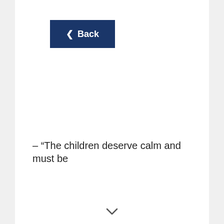[Figure (screenshot): A dark navy blue 'Back' button with a left-pointing chevron arrow and the text 'Back' in white]
– “The children deserve calm and must be